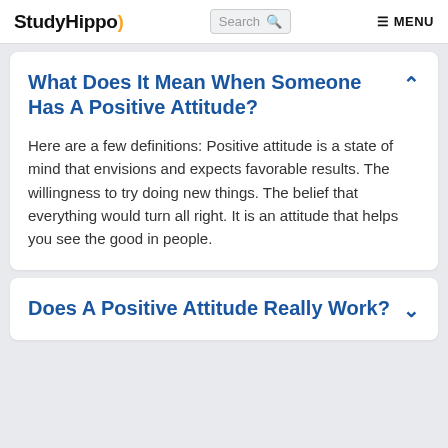StudyHippo  Search  MENU
What Does It Mean When Someone Has A Positive Attitude?
Here are a few definitions: Positive attitude is a state of mind that envisions and expects favorable results. The willingness to try doing new things. The belief that everything would turn all right. It is an attitude that helps you see the good in people.
Does A Positive Attitude Really Work?